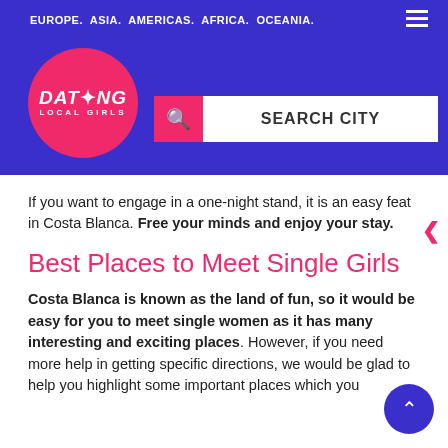EUROPE. ASIA. AMERICAS. AFRICA. OCEANIA.
[Figure (logo): Dating Local Girls logo — pink circle with white italic text 'DATING LOCAL GIRLS']
[Figure (screenshot): Pink search bar with magnifying glass icon and white box reading SEARCH CITY]
If you want to engage in a one-night stand, it is an easy feat in Costa Blanca. Free your minds and enjoy your stay.
Best Places to Meet Single Girls
Costa Blanca is known as the land of fun, so it would be easy for you to meet single women as it has many interesting and exciting places. However, if you need more help in getting specific directions, we would be glad to help you highlight some important places which you